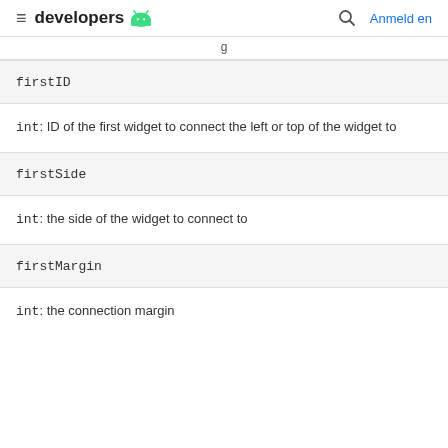≡ developers 🤖  🔍 Anmelden
g
firstID
int: ID of the first widget to connect the left or top of the widget to
firstSide
int: the side of the widget to connect to
firstMargin
int: the connection margin